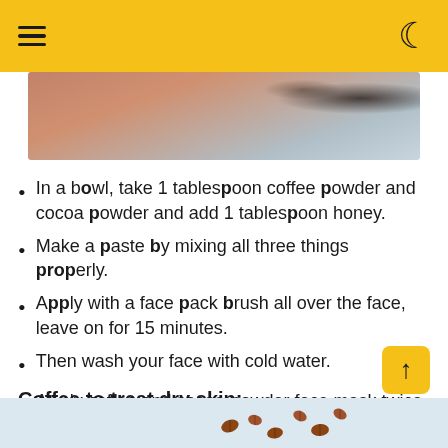Navigation menu header with hamburger icon and moon/dark-mode icon on yellow background
[Figure (photo): Close-up photo of skin with dark coffee/cocoa powder particles on it, light blue background visible at right]
In a bowl, take 1 tablespoon coffee powder and cocoa powder and add 1 tablespoon honey.
Make a paste by mixing all three things properly.
Apply with a face pack brush all over the face, leave on for 15 minutes.
Then wash your face with cold water.
Apply coffee and cocoa powder face mask twice a week.
Coffee to treat dry skin:
[Figure (photo): Bottom portion of image showing coffee beans scattered on a light blue-grey background with a small bowl]